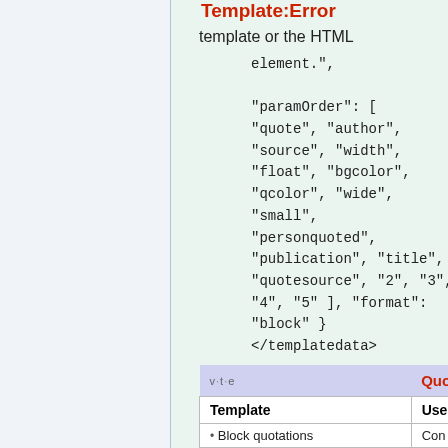Template:Error
template or the HTML
element.",
"paramOrder": [
"quote", "author",
"source", "width",
"float", "bgcolor",
"qcolor", "wide",
"small",
"personquoted",
"publication", "title",
"quotesource", "2", "3",
"4", "5" ], "format":
"block" }
</templatedata>
| Template | Use / |
| --- | --- |
| • Block quotations | Con |